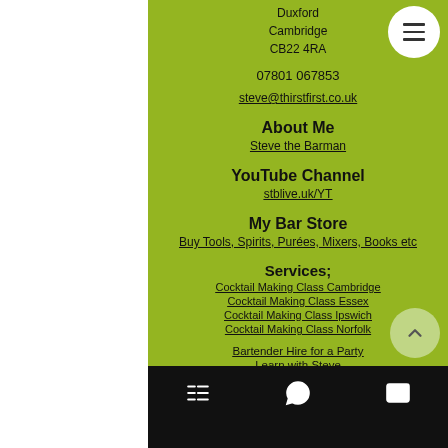Duxford
Cambridge
CB22 4RA
07801 067853
steve@thirstfirst.co.uk
About Me
Steve the Barman
YouTube Channel
stblive.uk/YT
My Bar Store
Buy Tools, Spirits, Purées, Mixers, Books etc
Services;
Cocktail Making Class Cambridge
Cocktail Making Class Essex
Cocktail Making Class Ipswich
Cocktail Making Class Norfolk
Bartender Hire for a Party
Learn with Steve
Follow Me on Social Media